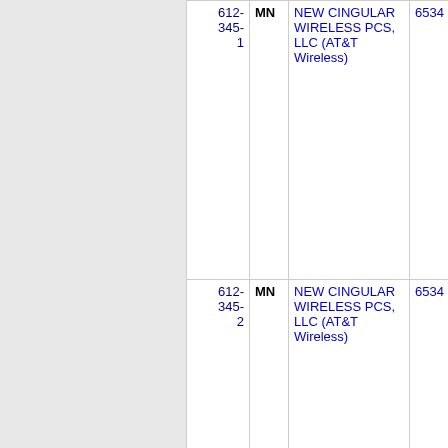| Number | State | Name | ID |  |
| --- | --- | --- | --- | --- |
| 612-345-1 | MN | NEW CINGULAR WIRELESS PCS, LLC (AT&T Wireless) | 6534 |  |
| 612-345-2 | MN | NEW CINGULAR WIRELESS PCS, LLC (AT&T Wireless) | 6534 |  |